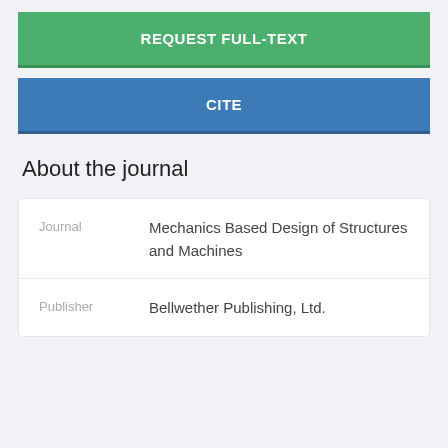REQUEST FULL-TEXT
CITE
About the journal
|  |  |
| --- | --- |
| Journal | Mechanics Based Design of Structures and Machines |
| Publisher | Bellwether Publishing, Ltd. |